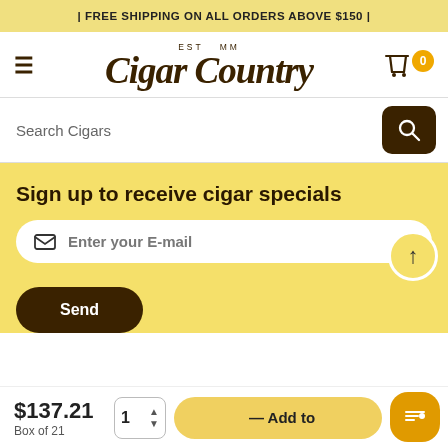| FREE SHIPPING ON ALL ORDERS ABOVE $150 |
[Figure (logo): Cigar Country logo with EST MM tagline and hamburger menu icon on left, shopping cart with 0 badge on right]
Search Cigars
Sign up to receive cigar specials
Enter your E-mail
Send
$137.21
Box of 21
— Add to